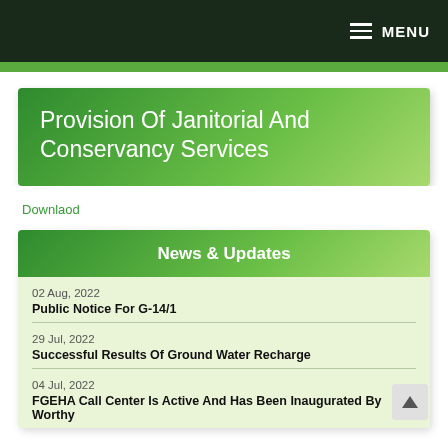MENU
Provision Of Janitorial And Conservancy Services
Downlaod
News & Updates
02 Aug, 2022
Public Notice For G-14/1
29 Jul, 2022
Successful Results Of Ground Water Recharge
04 Jul, 2022
FGEHA Call Center Is Active And Has Been Inaugurated By Worthy